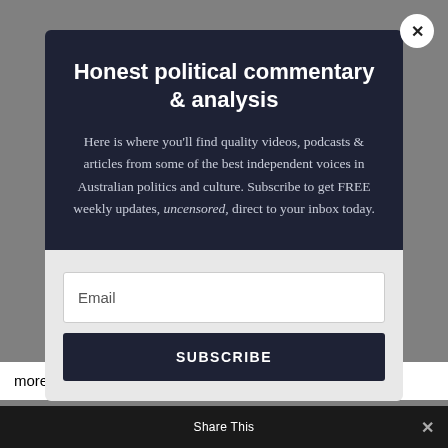Honest political commentary & analysis
Here is where you'll find quality videos, podcasts & articles from some of the best independent voices in Australian politics and culture. Subscribe to get FREE weekly updates, uncensored, direct to your inbox today.
Email
SUBSCRIBE
Share This
more evidence before switching to yellow, it will